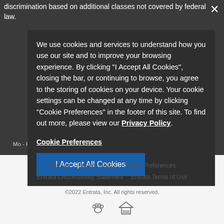discrimination based on additional classes not covered by federal law.
We use cookies and services to understand how you use our site and to improve your browsing experience. By clicking "I Accept All Cookies", closing the bar, or continuing to browse, you agree to the storing of cookies on your device. Your cookie settings can be changed at any time by clicking "Cookie Preferences" in the footer of this site. To find out more, please view our Privacy Policy
OLIV-Tempe Myrtle  |
704 S. Myrtle Ave
Tempe, AZ 85281
p: (480) 664-1247
Cookie Preferences
I Accept All Cookies
Mo - Fr: 9:00 am - 6:00 pm  Sa: 10:00 am - 5:00 pm  Su: 11:00 am - 5:00 pm
Sitemap  Privacy Policy  Cookie Preferences  Entrata's Accessibility Statement  Entrata Terms of Use  ©2022 Entrata, Inc. All rights reserved.